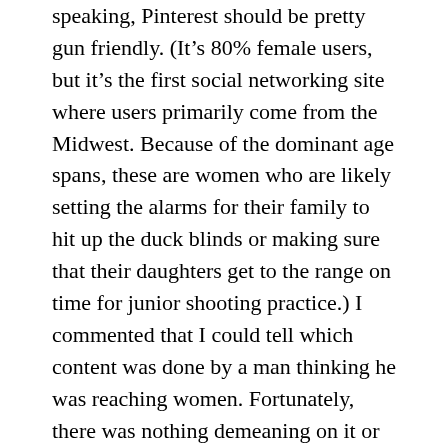speaking, Pinterest should be pretty gun friendly. (It’s 80% female users, but it’s the first social networking site where users primarily come from the Midwest. Because of the dominant age spans, these are women who are likely setting the alarms for their family to hit up the duck blinds or making sure that their daughters get to the range on time for junior shooting practice.) I commented that I could tell which content was done by a man thinking he was reaching women. Fortunately, there was nothing demeaning on it or anything, but it just wasn’t stuff that was quite right to appeal to the demographic.
I’ll also add that as bad as some of those